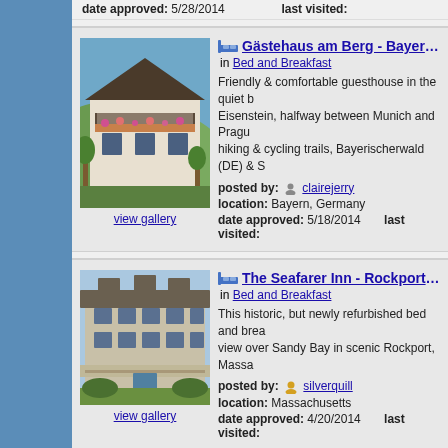date approved: 5/28/2014   last visited:
[Figure (photo): Photo of Gästehaus am Berg, a guesthouse with balcony and flower boxes, mountain view]
Gästehaus am Berg - Bayerisch Eis in Bed and Breakfast
Friendly & comfortable guesthouse in the quiet b Eisenstein, halfway between Munich and Prague hiking & cycling trails, Bayerischerwald (DE) & S
posted by: clairejerry
location: Bayern, Germany
date approved: 5/18/2014   last visited:
view gallery
[Figure (photo): Photo of The Seafarer Inn in Rockport, MA, a historic multi-story building]
The Seafarer Inn - Rockport, MA in Bed and Breakfast
This historic, but newly refurbished bed and brea view over Sandy Bay in scenic Rockport, Massa
posted by: silverquill
location: Massachusetts
date approved: 4/20/2014   last visited:
view gallery